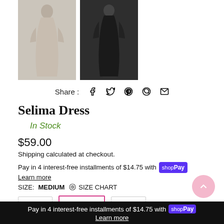[Figure (photo): Two product photos of dresses: left is a beige/nude fitted dress on a model, right is a black long-sleeve midi dress on a model.]
Share : [facebook] [twitter] [pinterest] [whatsapp] [email]
Selima Dress
In Stock
$59.00
Shipping calculated at checkout.
Pay in 4 interest-free installments of $14.75 with Shop Pay
Learn more
SIZE: MEDIUM  SIZE CHART
Small  Medium  Large
Pay in 4 interest-free installments of $14.75 with Shop Pay
Learn more